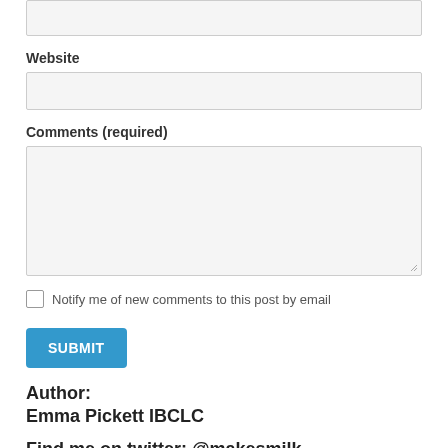Website
Comments (required)
Notify me of new comments to this post by email
SUBMIT
Author:
Emma Pickett IBCLC
Find me on twitter: @makesmilk